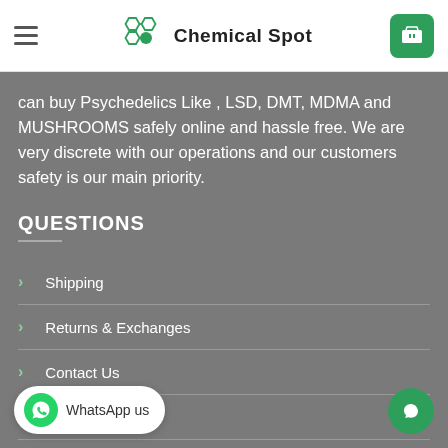Chemical Spot
can buy Psychedelics Like , LSD, DMT, MDMA and MUSHROOMS safely online and hassle free. We are very discrete with our operations and our customers safety is our main priority.
QUESTIONS
Shipping
Returns & Exchanges
Contact Us
Testimonials